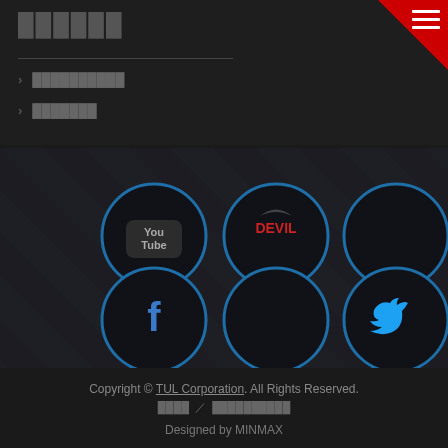██████
▶ ██████████
▶ ███████
[Figure (illustration): Dark textured background with 6 circular social media icons arranged in a 3x2 grid. Icons outlined in blue circles: YouTube logo (top-left), DEVIL logo (top-center), empty circle (top-right), Facebook f icon (bottom-left), empty circle (bottom-center), Twitter bird icon (bottom-right).]
Copyright © TUL Corporation. All Rights Reserved.
████ / ██████████
Designed by MINMAX